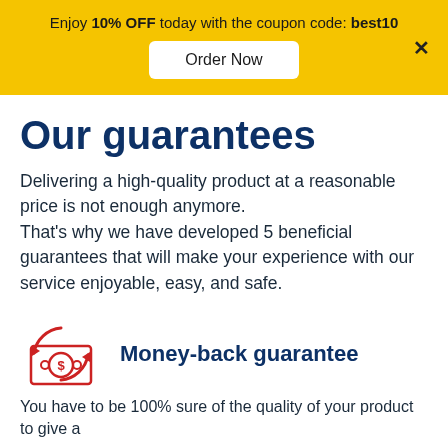Enjoy 10% OFF today with the coupon code: best10
Order Now
Our guarantees
Delivering a high-quality product at a reasonable price is not enough anymore. That's why we have developed 5 beneficial guarantees that will make your experience with our service enjoyable, easy, and safe.
[Figure (illustration): Money/cash icon with red circular arrows indicating money-back]
Money-back guarantee
You have to be 100% sure of the quality of your product to give a